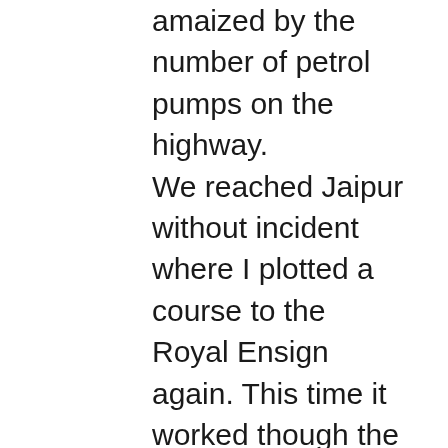amaized by the number of petrol pumps on the highway. We reached Jaipur without incident where I plotted a course to the Royal Ensign again. This time it worked though the human taxi driver got confused at statue circle and took the wrong exit from the round about. Once that had been rectified we reached the Royal Ensign without incident.
Now came the crucial moment. I finally deleted all the generic usb root hub devices and rebooted the laptop. Oh joy! the devices reinstalled themselves and